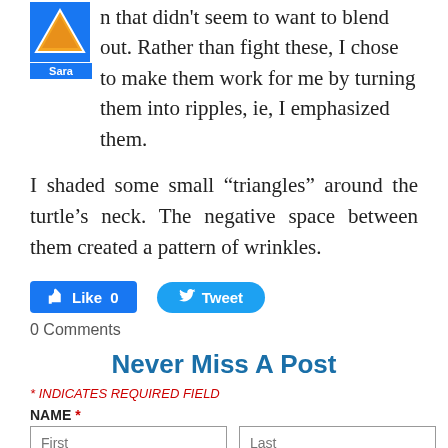I could see that there were some pencil marks on my [painting] that didn't seem to want to blend out. Rather than fight these, I chose to make them work for me by turning them into ripples, ie, I emphasized them.
I shaded some small “triangles” around the turtle's neck. The negative space between them created a pattern of wrinkles.
[Figure (screenshot): Facebook Like button (blue, count 0) and Twitter Tweet button (blue rounded)]
0 Comments
Never Miss A Post
* INDICATES REQUIRED FIELD
NAME *
First  Last